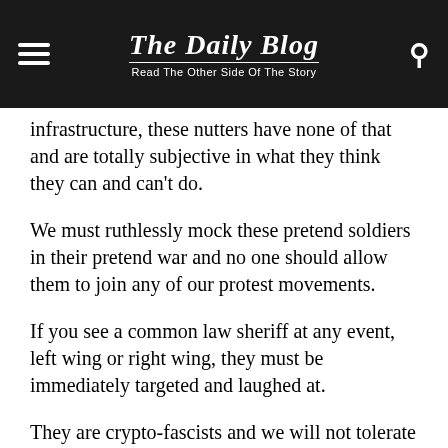The Daily Blog — Read The Other Side Of The Story
infrastructure, these nutters have none of that and are totally subjective in what they think they can and can't do.
We must ruthlessly mock these pretend soldiers in their pretend war and no one should allow them to join any of our protest movements.
If you see a common law sheriff at any event, left wing or right wing, they must be immediately targeted and laughed at.
They are crypto-fascists and we will not tolerate these lunatics infecting NZ any more than Qanon madness already has.